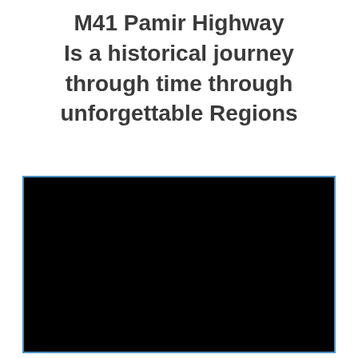M41 Pamir Highway Is a historical journey through time through unforgettable Regions
[Figure (photo): A large black rectangle with a thin blue border, representing a dark/black image placeholder of a landscape or scene along the M41 Pamir Highway.]